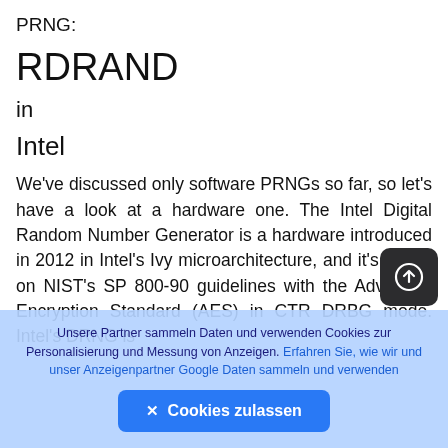PRNG:
RDRAND
in
Intel
We've discussed only software PRNGs so far, so let's have a look at a hardware one. The Intel Digital Random Number Generator is a hardware introduced in 2012 in Intel's Ivy microarchitecture, and it's based on NIST's SP 800-90 guidelines with the Advanced Encryption Standard (AES) in CTR DRBG mode. Intel's DRNG is
Unsere Partner sammeln Daten und verwenden Cookies zur Personalisierung und Messung von Anzeigen. Erfahren Sie, wie wir und unser Anzeigenpartner Google Daten sammeln und verwenden
✕ Cookies zulassen